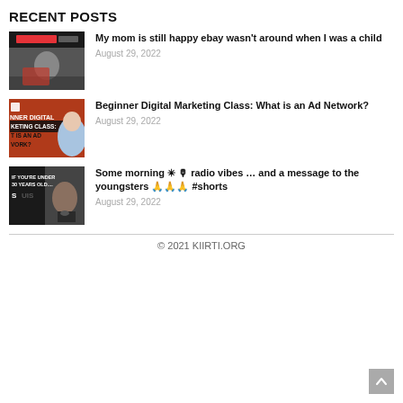RECENT POSTS
[Figure (photo): Thumbnail image of a person sitting, dark background with eBay logo text visible]
My mom is still happy ebay wasn't around when I was a child
August 29, 2022
[Figure (photo): Thumbnail image with orange/red background showing text: NNER DIGITAL KETING CLASS: T IS AN AD VORK? with a person in blue shirt]
Beginner Digital Marketing Class: What is an Ad Network?
August 29, 2022
[Figure (photo): Thumbnail image with dark background showing text: IF YOU'RE UNDER 30 YEARS OLD... and a person with microphone]
Some morning ✳ 🎙 radio vibes … and a message to the youngsters 🙏🙏🙏 #shorts
August 29, 2022
© 2021 KIIRTI.ORG